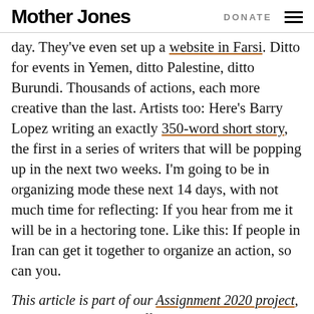Mother Jones | DONATE
day. They've even set up a website in Farsi. Ditto for events in Yemen, ditto Palestine, ditto Burundi. Thousands of actions, each more creative than the last. Artists too: Here's Barry Lopez writing an exactly 350-word short story, the first in a series of writers that will be popping up in the next two weeks. I'm going to be in organizing mode these next 14 days, with not much time for reflecting: If you hear from me it will be in a hectoring tone. Like this: If people in Iran can get it together to organize an action, so can you.
This article is part of our Assignment 2020 project, a long-term reporting effort on the most important story of our time.